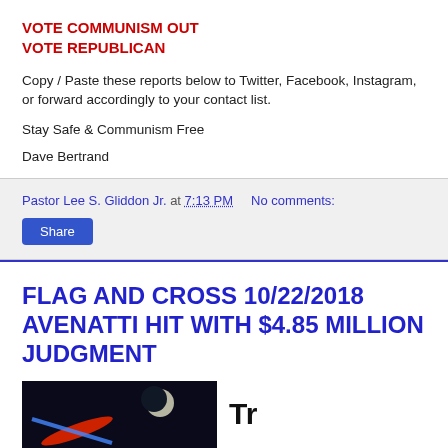VOTE COMMUNISM OUT
VOTE REPUBLICAN
Copy / Paste these reports below to Twitter, Facebook, Instagram, or forward accordingly to your contact list.
Stay Safe & Communism Free
Dave Bertrand
Pastor Lee S. Gliddon Jr. at 7:13 PM   No comments:
FLAG AND CROSS 10/22/2018 AVENATTI HIT WITH $4.85 MILLION JUDGMENT
[Figure (photo): Dark image with a red and blue object (possibly a missile or comet) and a moon in the background]
Tr